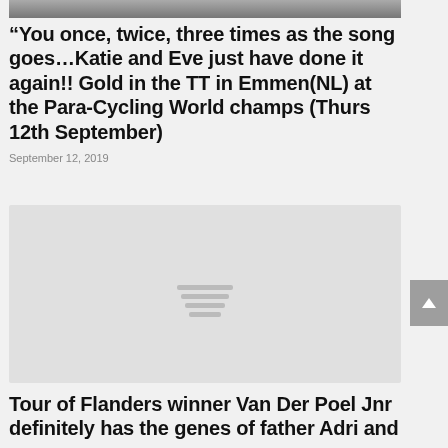[Figure (photo): Partial top photo strip of cyclists or para-cycling athletes]
“You once, twice, three times as the song goes…Katie and Eve just have done it again!! Gold in the TT in Emmen(NL) at the Para-Cycling World champs (Thurs 12th September)
September 12, 2019
[Figure (photo): Gray placeholder image with loading icon (three horizontal lines stacked)]
Tour of Flanders winner Van Der Poel Jnr definitely has the genes of father Adri and